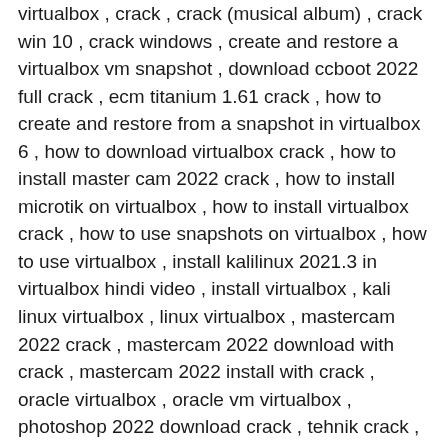virtualbox , crack , crack (musical album) , crack win 10 , crack windows , create and restore a virtualbox vm snapshot , download ccboot 2022 full crack , ecm titanium 1.61 crack , how to create and restore from a snapshot in virtualbox 6 , how to download virtualbox crack , how to install master cam 2022 crack , how to install microtik on virtualbox , how to install virtualbox crack , how to use snapshots on virtualbox , how to use virtualbox , install kalilinux 2021.3 in virtualbox hindi video , install virtualbox , kali linux virtualbox , linux virtualbox , mastercam 2022 crack , mastercam 2022 download with crack , mastercam 2022 install with crack , oracle virtualbox , oracle vm virtualbox , photoshop 2022 download crack , tehnik crack , virtual box , virtualbox , virtualbox (software) , virtualbox 2022 , virtualbox 2022 torrent , virtualbox crack , virtualbox crack 100% working , virtualbox crack 2022 , virtualbox crack 2022 download , virtualbox crack free , virtualbox crack free download , virtualbox crack free download full version , virtualbox crack free full download , virtualbox crack full download , virtualbox crack full free